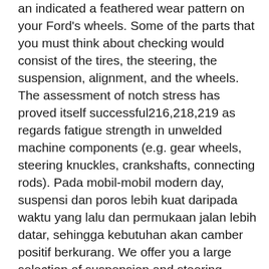an indicated a feathered wear pattern on your Ford's wheels. Some of the parts that you must think about checking would consist of the tires, the steering, the suspension, alignment, and the wheels. The assessment of notch stress has proved itself successful216,218,219 as regards fatigue strength in unwelded machine components (e.g. gear wheels, steering knuckles, crankshafts, connecting rods). Pada mobil-mobil modern day, suspensi dan poros lebih kuat daripada waktu yang lalu dan permukaan jalan lebih datar, sehingga kebutuhan akan camber positif berkurang. We offer you a large selection of suspension and steering components such as ball joints, coil springs, control arms, idler arms, shocks, struts, sway bars and much more. The inner side 120 also comprises an outwardly extending lug 126, obtaining an opening 127 therethrough, for receiving the finish of the steering arm 20 of the suspension and steering assembly 12. Meanwhile, shocks are meant to be installed vertically on most of the motor cars, however, the lateral